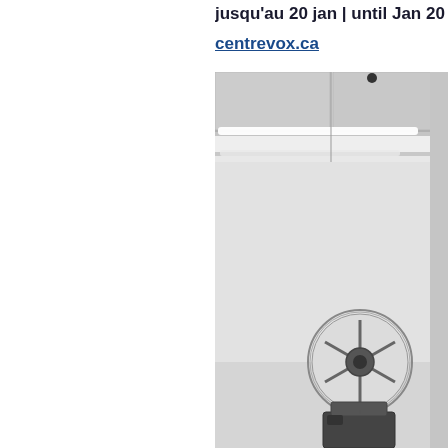jusqu'au 20 jan | until Jan 20
centrevox.ca
[Figure (photo): Black and white photograph of a gallery interior with ceiling-mounted fluorescent tube lights and a vintage film projector reel in the lower portion of the frame. The room has white walls and the projector sits on a dark base.]